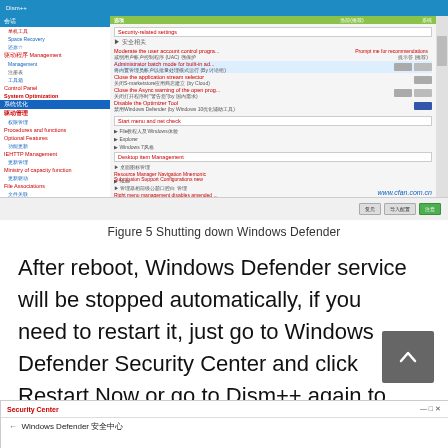[Figure (screenshot): Screenshot of Dism++ application showing Security-related settings panel. Left sidebar shows menu items including System Optimization highlighted. Main panel shows options like 'Moderate the user account control progra...', 'Administrator batch mode for built-in ad...', 'Close the application stream selector', 'Close the Async warning of the open prog...', 'Disable the Optimizer Tool', 'Disable Windows Defender (by Windows 10优化辅助工具)' with toggles on the right side. Bottom bar has buttons. Watermark shows www.cfan.com.cn]
Figure 5 Shutting down Windows Defender
After reboot, Windows Defender service will be stopped automatically, if you need to restart it, just go to Windows Defender Security Center and click Restart Now or go to Dism++ again to restore the open settings (Figure 6).
[Figure (screenshot): Partial screenshot showing Windows Defender 安全中心 (Security Center) window with title bar showing 'Security Center' in red and 'Windows Defender 安全中心' text below.]